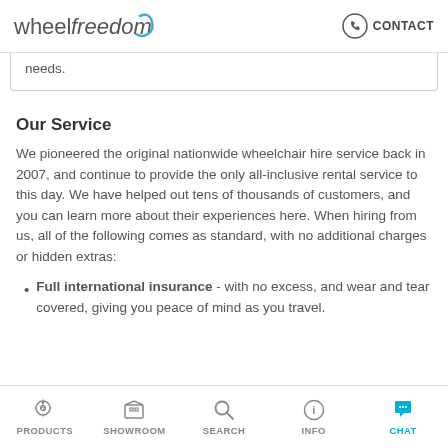wheelfreedom CONTACT
needs.
Our Service
We pioneered the original nationwide wheelchair hire service back in 2007, and continue to provide the only all-inclusive rental service to this day. We have helped out tens of thousands of customers, and you can learn more about their experiences here. When hiring from us, all of the following comes as standard, with no additional charges or hidden extras:
Full international insurance - with no excess, and wear and tear covered, giving you peace of mind as you travel.
PRODUCTS  SHOWROOM  SEARCH  INFO  CHAT